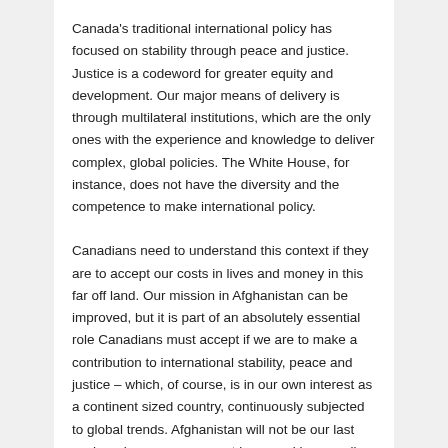Canada's traditional international policy has focused on stability through peace and justice. Justice is a codeword for greater equity and development. Our major means of delivery is through multilateral institutions, which are the only ones with the experience and knowledge to deliver complex, global policies. The White House, for instance, does not have the diversity and the competence to make international policy.
Canadians need to understand this context if they are to accept our costs in lives and money in this far off land. Our mission in Afghanistan can be improved, but it is part of an absolutely essential role Canadians must accept if we are to make a contribution to international stability, peace and justice – which, of course, is in our own interest as a continent sized country, continuously subjected to global trends. Afghanistan will not be our last such endeavor, so we must learn and learn well.
The second aspect of leadership is being able to inspire people. Inspiration means the capacity to mobilize, share...